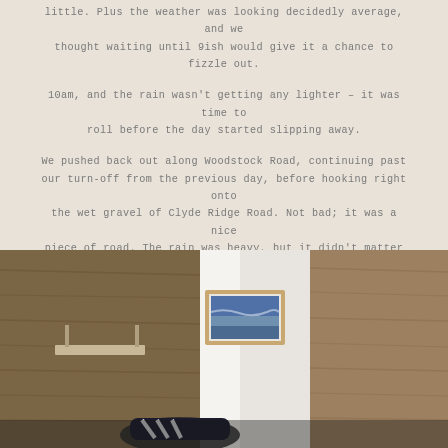little. Plus the weather was looking decidedly average, and we thought waiting until 9ish would give it a chance to fizzle out.
10am, and the rain wasn't getting any lighter – it was time to roll before the day started slipping away.
We pushed back out along Woodstock Road, continuing past our turn-off from the previous day, before hooking right onto the wet gravel of Clyde Ridge Road. Not bad; it was a nice piece of road. The rain was heavy, but it didn't matter – we were enjoying the ride. It was mostly flat or downhill on our way to the Clyde River.
Plus, there were no shortage of 4WDs – or leeches – for company.
[Figure (photo): Interior hallway of a cabin or accommodation, showing wooden plank walls, a white door ajar with a metal handle, a framed coastal photograph on the white wall, and white sneakers/shoes on the floor in the foreground.]